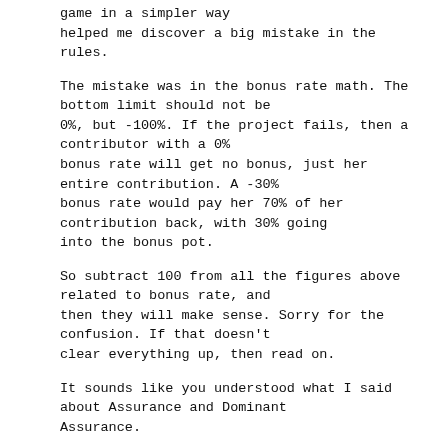game in a simpler way
helped me discover a big mistake in the rules.
The mistake was in the bonus rate math. The bottom limit should not be
0%, but -100%. If the project fails, then a contributor with a 0%
bonus rate will get no bonus, just her entire contribution. A -30%
bonus rate would pay her 70% of her contribution back, with 30% going
into the bonus pot.
So subtract 100 from all the figures above related to bonus rate, and
then they will make sense. Sorry for the confusion. If that doesn't
clear everything up, then read on.
It sounds like you understood what I said about Assurance and Dominant
Assurance.
Essentially, Cooperative Dominant Assurance goes one step further by
enabling supporters of a proposal to help fund bonuses in case of
failure. My proposal exploits all variables in real time.